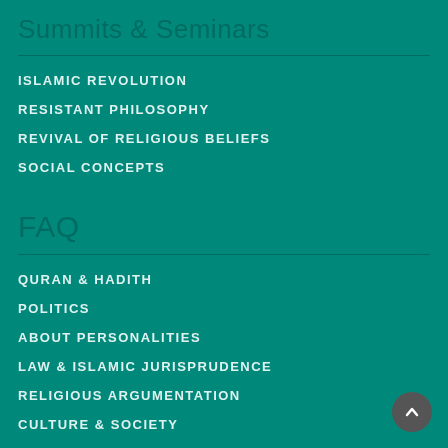Summits & Seminars
ISLAMIC REVOLUTION
RESISTANT PHILOSOPHY
REVIVAL OF RELIGIOUS BELIEFS
SOCIAL CONCEPTS
FAQ
QURAN & HADITH
POLITICS
ABOUT PERSONALITIES
LAW & ISLAMIC JURISPRUDENCE
RELIGIOUS ARGUMENTATION
CULTURE & SOCIETY
ETHICS & MYSTICISM